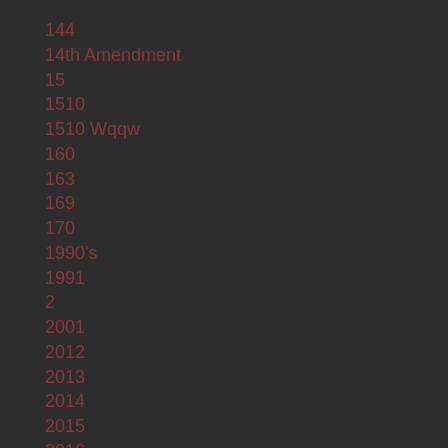144
14th Amendment
15
1510
1510 Wqqw
160
163
169
170
1990's
1991
2
2001
2012
2013
2014
2015
2016
2017
2018